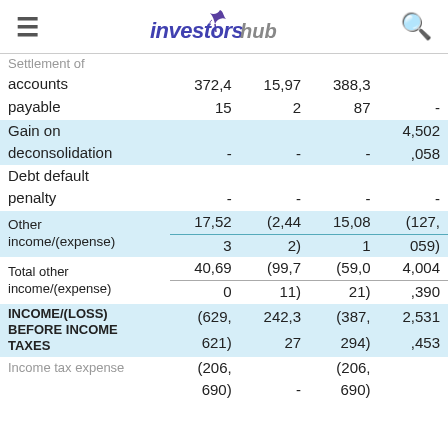investorshub
|  |  |  |  |  |
| --- | --- | --- | --- | --- |
| Settlement of accounts payable | 372,415 | 15,972 | 388,387 | - |
| Gain on deconsolidation | - | - | - | 4,502,058 |
| Debt default penalty | - | - | - | - |
| Other income/(expense) | 17,523 | (2,442) | 15,081 | (127,059) |
| Total other income/(expense) | 40,690 | (99,711) | (59,021) | 4,004,390 |
| INCOME/(LOSS) BEFORE INCOME TAXES | (629,621) | 242,327 | (387,294) | 2,531,453 |
| Income tax expense | (206,690) | - | (206,690) |  |